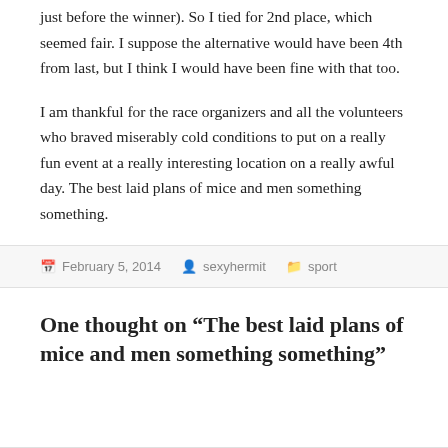just before the winner). So I tied for 2nd place, which seemed fair. I suppose the alternative would have been 4th from last, but I think I would have been fine with that too.

I am thankful for the race organizers and all the volunteers who braved miserably cold conditions to put on a really fun event at a really interesting location on a really awful day. The best laid plans of mice and men something something.
February 5, 2014   sexyhermit   sport
One thought on “The best laid plans of mice and men something something”